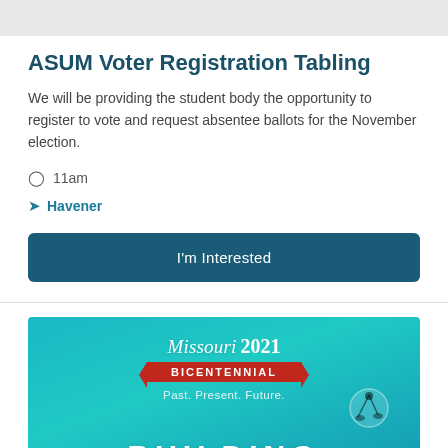ASUM Voter Registration Tabling
We will be providing the student body the opportunity to register to vote and request absentee ballots for the November election.
11am
Havener
I'm Interested
[Figure (photo): Missouri 2021 Bicentennial banner image with teal background, cursive Missouri 2021 text, red ribbon with BICENTENNIAL text, tagline Past. Present. Future., and large BUILDING text at bottom.]